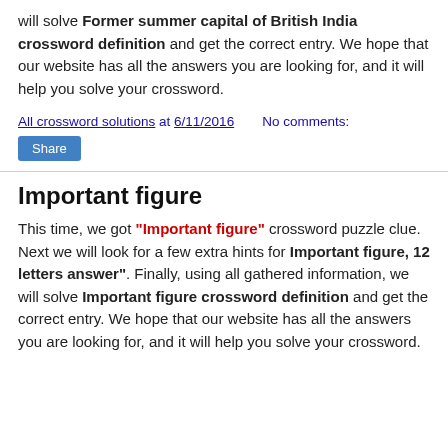will solve Former summer capital of British India crossword definition and get the correct entry. We hope that our website has all the answers you are looking for, and it will help you solve your crossword.
All crossword solutions at 6/11/2016    No comments:
Share
Important figure
This time, we got "Important figure" crossword puzzle clue. Next we will look for a few extra hints for Important figure, 12 letters answer". Finally, using all gathered information, we will solve Important figure crossword definition and get the correct entry. We hope that our website has all the answers you are looking for, and it will help you solve your crossword.